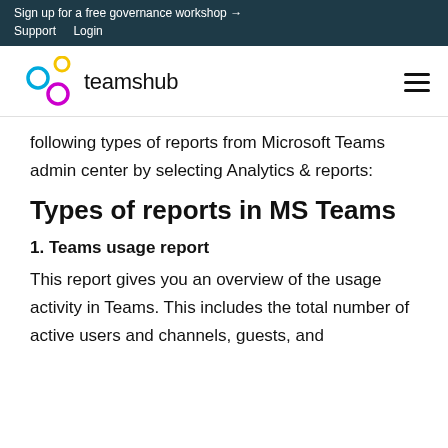Sign up for a free governance workshop →
Support   Login
[Figure (logo): Teamshub logo with three interconnected circles in yellow, blue, and magenta, followed by the text 'teamshub']
following types of reports from Microsoft Teams admin center by selecting Analytics & reports:
Types of reports in MS Teams
1. Teams usage report
This report gives you an overview of the usage activity in Teams. This includes the total number of active users and channels, guests, and